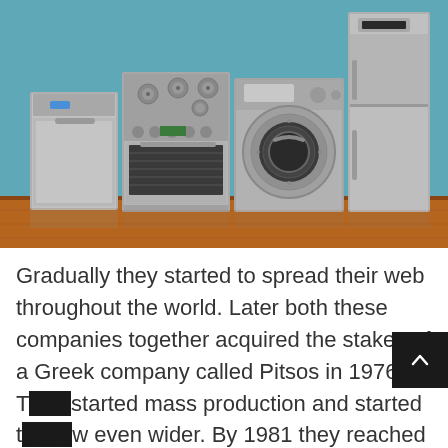[Figure (photo): Photo of four stainless steel kitchen/home appliances lined up against a teal/blue wall on a wooden floor: a dishwasher, a gas range/oven, a front-load washing machine, and a refrigerator.]
Gradually they started to spread their web throughout the world. Later both these companies together acquired the stakes of a Greek company called Pitsos in 1976. They started mass production and started to grow even wider. By 1981 they reached bigger